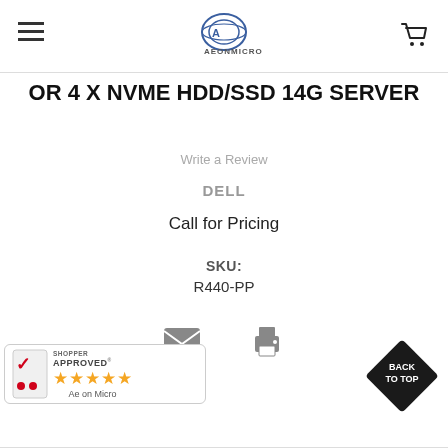AEONMICRO
OR 4 X NVME HDD/SSD 14G SERVER
Write a Review
DELL
Call for Pricing
SKU: R440-PP
[Figure (other): Email and print icons]
[Figure (logo): Shopper Approved badge with 5 stars and Aeon Micro text]
[Figure (other): Back to Top diamond button]